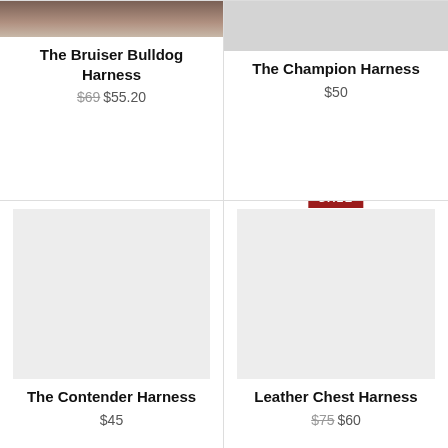[Figure (photo): Partial photo of person wearing The Bruiser Bulldog Harness (cropped top)]
The Bruiser Bulldog Harness
$69 $55.20
[Figure (photo): Partial photo showing The Champion Harness product (light gray background, cropped top)]
The Champion Harness
$50
SALE
[Figure (photo): Product photo placeholder for The Contender Harness (light gray rectangle)]
The Contender Harness
$45
[Figure (photo): Product photo placeholder for Leather Chest Harness (light gray rectangle)]
Leather Chest Harness
$75 $60